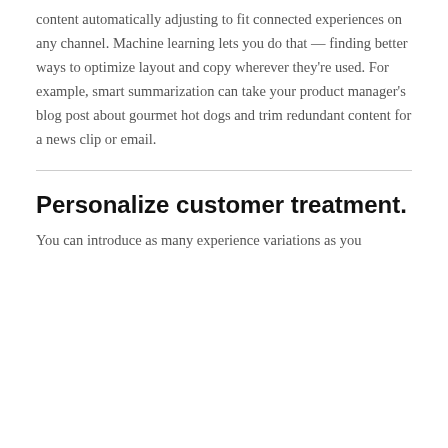content automatically adjusting to fit connected experiences on any channel. Machine learning lets you do that — finding better ways to optimize layout and copy wherever they're used. For example, smart summarization can take your product manager's blog post about gourmet hot dogs and trim redundant content for a news clip or email.
Personalize customer treatment.
You can introduce as many experience variations as you choose for any digital experience to any audience...